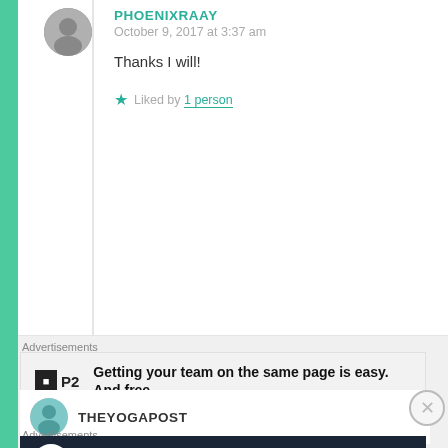PHOENIXRAAY
October 9, 2017 at 3:37 am
Thanks I will!
Liked by 1 person
Advertisements
[Figure (other): P2 advertisement: Getting your team on the same page is easy. And free.]
REPORT THIS AD
THEYOGAPOST
Advertisements
[Figure (other): Dark advertisement: Launch your online course with WordPress. Learn More button.]
REPORT THIS AD